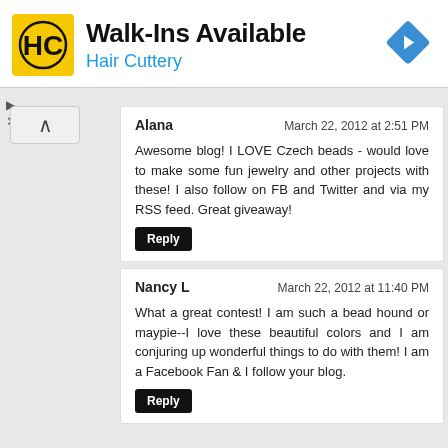[Figure (infographic): Hair Cuttery advertisement banner with yellow HC logo, 'Walk-Ins Available' heading, 'Hair Cuttery' subtext in blue, and a blue diamond-shaped directional arrow icon on the right.]
Alana
March 22, 2012 at 2:51 PM
Awesome blog! I LOVE Czech beads - would love to make some fun jewelry and other projects with these! I also follow on FB and Twitter and via my RSS feed. Great giveaway!
Reply
Nancy L
March 22, 2012 at 11:40 PM
What a great contest! I am such a bead hound or maypie--I love these beautiful colors and I am conjuring up wonderful things to do with them! I am a Facebook Fan & I follow your blog.
Reply